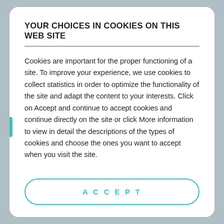YOUR CHOICES IN COOKIES ON THIS WEB SITE
Cookies are important for the proper functioning of a site. To improve your experience, we use cookies to collect statistics in order to optimize the functionality of the site and adapt the content to your interests. Click on Accept and continue to accept cookies and continue directly on the site or click More information to view in detail the descriptions of the types of cookies and choose the ones you want to accept when you visit the site.
ACCEPT